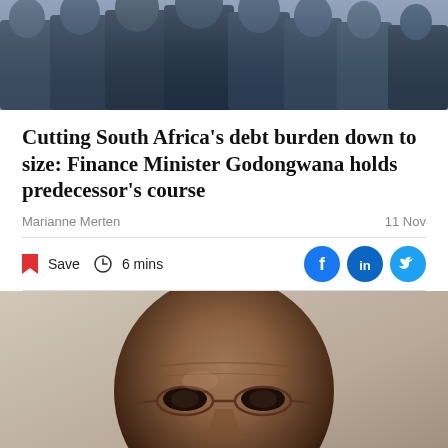[Figure (photo): Group of people in formal/business attire, partial top crop showing bodies from chest down]
Cutting South Africa's debt burden down to size: Finance Minister Godongwana holds predecessor's course
Marianne Merten
11 Nov
Save  6 mins
[Figure (photo): Close-up portrait of Finance Minister Godongwana, a Black man wearing glasses and a dark suit, speaking]